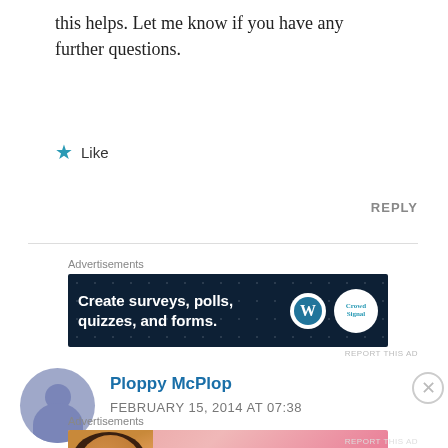this helps. Let me know if you have any further questions.
Like
REPLY
Advertisements
[Figure (screenshot): Dark navy blue advertisement banner: 'Create surveys, polls, quizzes, and forms.' with WordPress and CrowdSignal logos]
Ploppy McPlop
FEBRUARY 15, 2014 AT 07:38
Advertisements
[Figure (screenshot): Victoria's Secret advertisement banner in pink: 'SHOP THE COLLECTION' with SHOP NOW button and model photo]